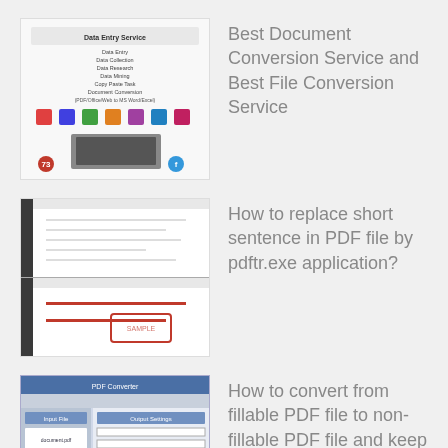[Figure (screenshot): Thumbnail showing Data Entry Service promotional image with various service icons and text]
Best Document Conversion Service and Best File Conversion Service
[Figure (screenshot): Two-part thumbnail showing PDF file editing with pdftr.exe application – top half shows blank PDF, bottom half shows PDF with red strikethrough lines and a stamp]
How to replace short sentence in PDF file by pdftr.exe application?
[Figure (screenshot): Screenshot of PDF software interface showing fillable PDF conversion process]
How to convert from fillable PDF file to non-fillable PDF file and keep ori...
Recent Comments